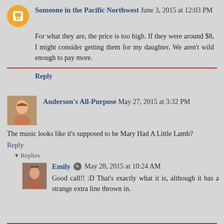Someone in the Pacific Northwest   June 3, 2015 at 12:03 PM
For what they are, the price is too high. If they were around $8, I might consider getting them for my daughter. We aren't wild enough to pay more.
Reply
Anderson's All-Purpose   May 27, 2015 at 3:32 PM
The music looks like it's supposed to be Mary Had A Little Lamb?
Reply
▾  Replies
Emily  May 28, 2015 at 10:24 AM
Good call!! :D That's exactly what it is, although it has a strange extra line thrown in.